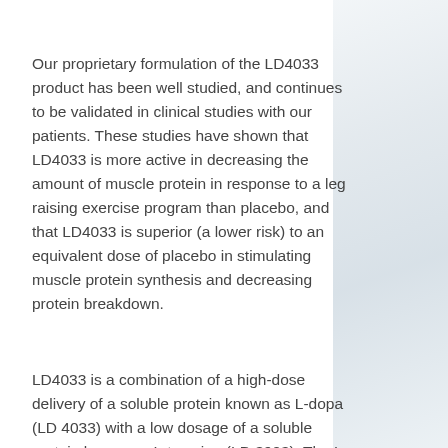Our proprietary formulation of the LD4033 product has been well studied, and continues to be validated in clinical studies with our patients. These studies have shown that LD4033 is more active in decreasing the amount of muscle protein in response to a leg raising exercise program than placebo, and that LD4033 is superior (a lower risk) to an equivalent dose of placebo in stimulating muscle protein synthesis and decreasing protein breakdown.
LD4033 is a combination of a high-dose delivery of a soluble protein known as L-dopa (LD 4033) with a low dosage of a soluble protein known as L-tyrosine (LD 3903). The L-dopa and L-tyrosine forms of the LD4033 product are made to maximize the rate of absorption by the body following